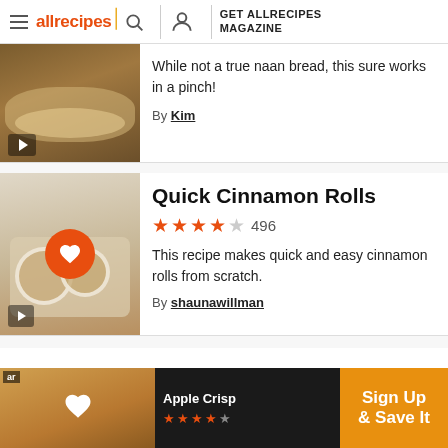allrecipes | GET ALLRECIPES MAGAZINE
While not a true naan bread, this sure works in a pinch!
By Kim
[Figure (photo): Photo of naan bread with toppings]
Quick Cinnamon Rolls
4 stars out of 5, 496 reviews
This recipe makes quick and easy cinnamon rolls from scratch.
By shaunawillman
[Figure (photo): Photo of cinnamon rolls with icing on a plate]
[Figure (other): Apple Crisp Sign Up & Save It banner advertisement]